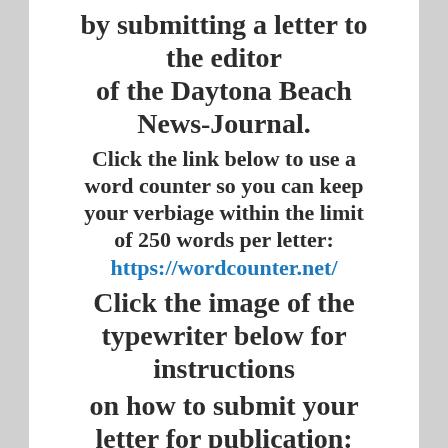by submitting a letter to the editor of the Daytona Beach News-Journal. Click the link below to use a word counter so you can keep your verbiage within the limit of 250 words per letter: https://wordcounter.net/ Click the image of the typewriter below for instructions on how to submit your letter for publication: